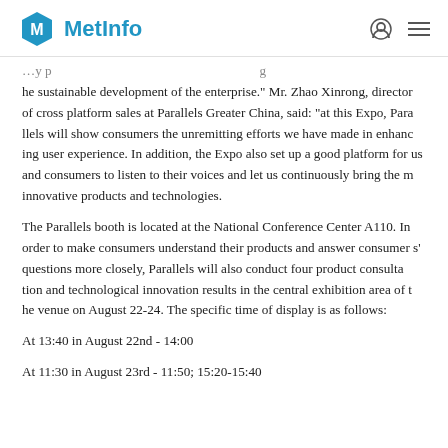MetInfo
he sustainable development of the enterprise." Mr. Zhao Xinrong, director of cross platform sales at Parallels Greater China, said: "at this Expo, Parallels will show consumers the unremitting efforts we have made in enhancing user experience. In addition, the Expo also set up a good platform for us and consumers to listen to their voices and let us continuously bring them innovative products and technologies.
The Parallels booth is located at the National Conference Center A110. In order to make consumers understand their products and answer consumers' questions more closely, Parallels will also conduct four product consultation and technological innovation results in the central exhibition area of the venue on August 22-24. The specific time of display is as follows:
At 13:40 in August 22nd - 14:00
At 11:30 in August 23rd - 11:50; 15:20-15:40